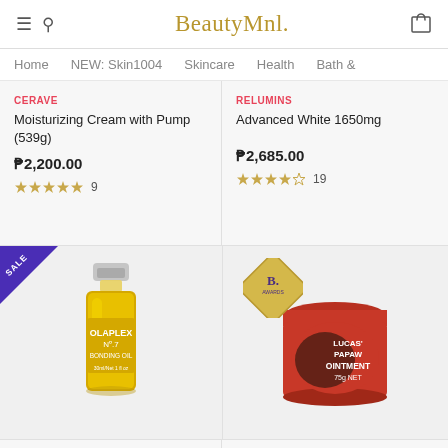BeautyMnl.
Home
NEW: Skin1004
Skincare
Health
Bath &
CERAVE
Moisturizing Cream with Pump (539g)
₱2,200.00
9
RELUMINS
Advanced White 1650mg
₱2,685.00
19
[Figure (photo): Olaplex No.7 Bonding Oil bottle with golden/yellow oil, small glass bottle with metal cap, SALE badge in purple corner]
[Figure (photo): Lucas Papaw Ointment red jar 75g NET with B. Awards diamond logo badge]
OLAPLEX
LUCAS PAPAW